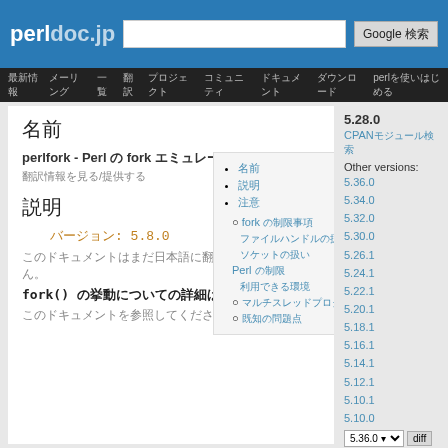perldoc.jp  [search box]  Google 検索
最新情報 メーリング 一覧 翻訳 プロジェクト コミュニティ ドキュメント ダウンロード perl を使いはじめる
5.28.0
CPANモジュール検索
Other versions:
5.36.0 5.34.0 5.32.0 5.30.0 5.26.1 5.24.1 5.22.1 5.20.1 5.18.1 5.16.1 5.14.1 5.12.1 5.10.1 5.10.0
名前
perlfork - Perl の fork エミュレーション
翻訳情報を見る/提供する
説明
バージョン: 5.8.0
このドキュメントはまだ日本語に翻訳されていません。
fork() の挙動についての詳細は
このドキュメントを参照してください。
名前
説明
注意
fork の制限事項
ファイルハンドルの扱い
ソケットの扱い
Perl の制限
利用できる環境
マルチスレッドプログラム
既知の問題点